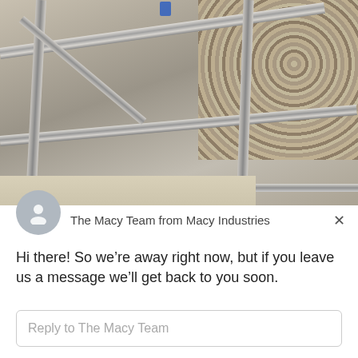[Figure (photo): Photo of metal frame structure (steel bars/pipes) with gravel/rock background and concrete floor, viewed from above at an angle. A small blue tag or label is visible at the top.]
The Macy Team from Macy Industries
Hi there! So we’re away right now, but if you leave us a message we’ll get back to you soon.
Reply to The Macy Team